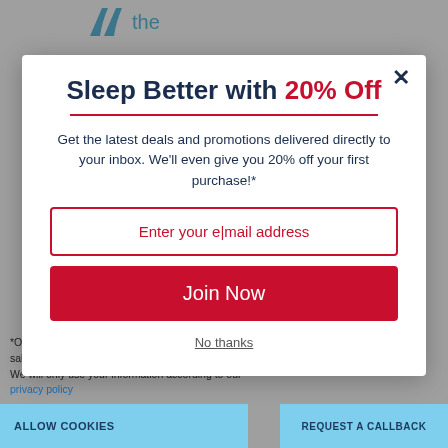[Figure (screenshot): Website header with logo showing stylized quote marks and 'the' text in blue]
Sleep Better with 20% Off
Get the latest deals and promotions delivered directly to your inbox. We'll even give you 20% off your first purchase!*
Enter your email address
Join Now
No thanks
*Only valid for new sign-ups. Cannot be combined with another sale or promotion.
We will only use your information according to our privacy policy
ALLOW COOKIES
REQUEST A CALLBACK